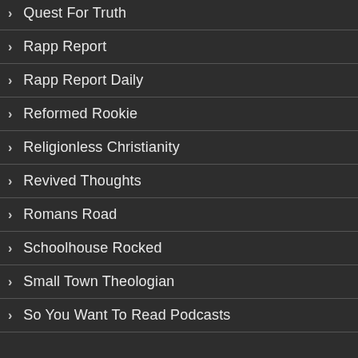Quest For Truth
Rapp Report
Rapp Report Daily
Reformed Rookie
Religionless Christianity
Revived Thoughts
Romans Road
Schoolhouse Rocked
Small Town Theologian
So You Want To Read Podcasts